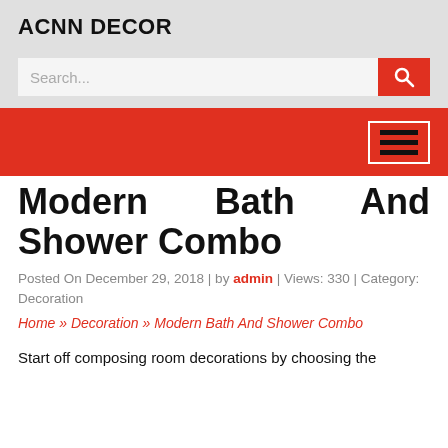ACNN DECOR
[Figure (screenshot): Search bar with red search button]
[Figure (screenshot): Red navigation bar with hamburger menu icon]
Modern Bath And Shower Combo
Posted On December 29, 2018 | by admin | Views: 330 | Category: Decoration
Home » Decoration » Modern Bath And Shower Combo
Start off composing room decorations by choosing the